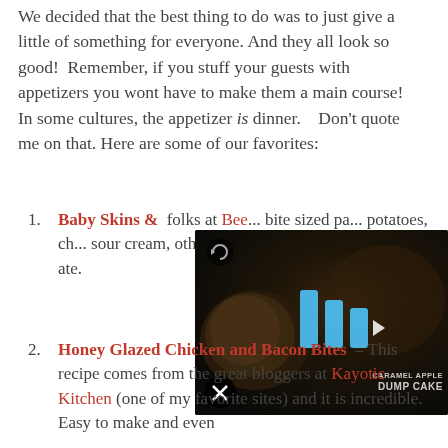We decided that the best thing to do was to just give a little of something for everyone. And they all look so good! Remember, if you stuff your guests with appetizers you wont have to make them a main course! In some cultures, the appetizer is dinner. Don't quote me on that. Here are some of our favorites:
Baby Skins & ... – [linked: Baby Skins, Bee...] bite sized pa... potatoes, ch... sour cream, other withou... ate.
[Figure (screenshot): Video overlay showing a food video thumbnail with play button, mute button, reload icon, and text 'CARAMEL APPLE DUMP CAKE' on a dark background with food imagery.]
Honey Glazed Chicken and Bacon Bites – This recipe comes from the great bloggers at Kayotic Kitchen (one of my favorite sites) and it is incredible. Easy to make and even